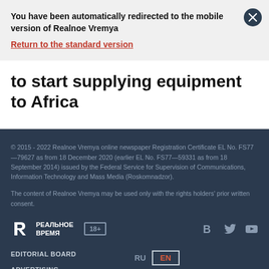You have been automatically redirected to the mobile version of Realnoe Vremya
Return to the standard version
to start supplying equipment to Africa
© 2015 - 2022 Realnoe Vremya online newspaper Registration Certificate EL No. FS77—79627 as from 18 December 2020 (earlier EL No. FS77—59331 as from 18 September 2014) issued by the Federal Service for Supervision of Communications, Information Technology and Mass Media (Roskomnadzor).
The content of Realnoe Vremya may be used only with the rights holders' prior written consent.
EDITORIAL BOARD
ADVERTISING
TERMS OF USE
Founder Realnoe Vremya LLC Acting editor-in-chief Kosheev S. Editorial's phone +7 (843) 222 90 80